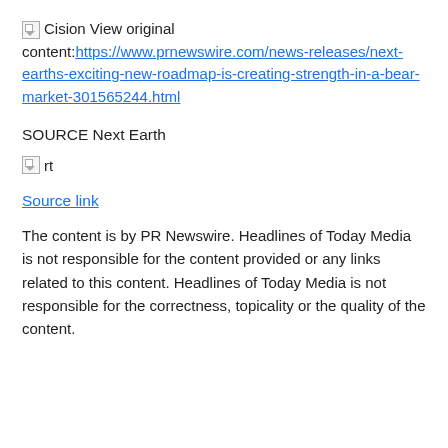Cision View original content: https://www.prnewswire.com/news-releases/next-earths-exciting-new-roadmap-is-creating-strength-in-a-bear-market-301565244.html
SOURCE Next Earth
[Figure (other): Small broken image icon labeled 'rt']
Source link
The content is by PR Newswire. Headlines of Today Media is not responsible for the content provided or any links related to this content. Headlines of Today Media is not responsible for the correctness, topicality or the quality of the content.